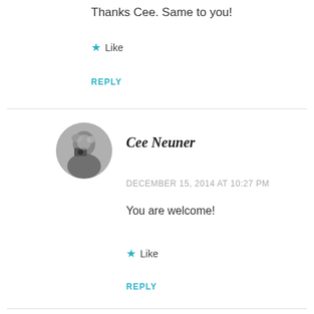Thanks Cee. Same to you!
★ Like
REPLY
[Figure (photo): Circular grayscale avatar photo of Cee Neuner showing a person with a camera]
Cee Neuner
DECEMBER 15, 2014 AT 10:27 PM
You are welcome!
★ Like
REPLY